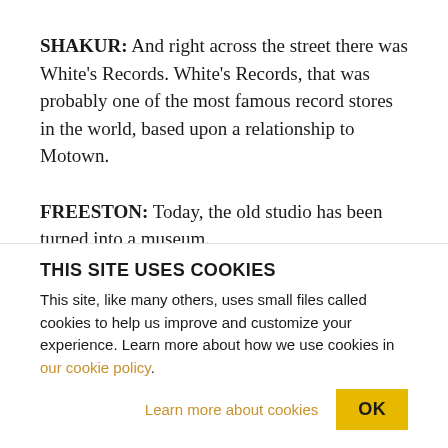SHAKUR: And right across the street there was White's Records. White's Records, that was probably one of the most famous record stores in the world, based upon a relationship to Motown.
FREESTON: Today, the old studio has been turned into a museum.
SHAKUR: There is no relationship between these institutions and the community.
THIS SITE USES COOKIES
This site, like many others, uses small files called cookies to help us improve and customize your experience. Learn more about how we use cookies in our cookie policy.
Learn more about cookies
OK